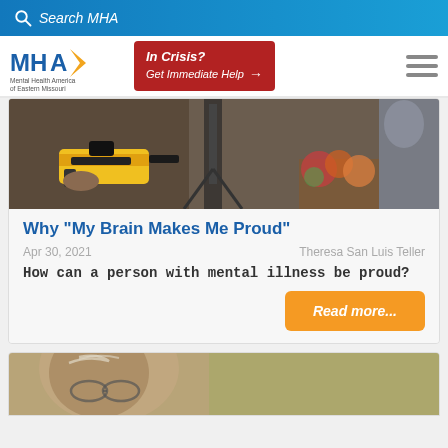Search MHA
[Figure (logo): MHA Mental Health America of Eastern Missouri logo with red Crisis button and hamburger menu]
[Figure (photo): Photo showing hands holding a yellow power tool and a camera on a tripod with flowers in background]
Why "My Brain Makes Me Proud"
Apr 30, 2021    Theresa San Luis Teller
How can a person with mental illness be proud?
Read more...
[Figure (photo): Partial photo of an elderly person with glasses, partially visible at bottom of page]